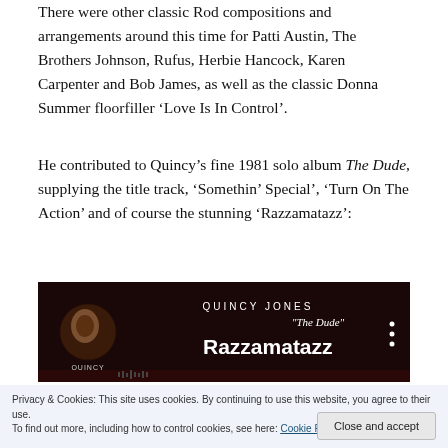There were other classic Rod compositions and arrangements around this time for Patti Austin, The Brothers Johnson, Rufus, Herbie Hancock, Karen Carpenter and Bob James, as well as the classic Donna Summer floorfiller ‘Love Is In Control’.
He contributed to Quincy’s fine 1981 solo album The Dude, supplying the title track, ‘Somethin’ Special’, ‘Turn On The Action’ and of course the stunning ‘Razzamatazz’:
[Figure (screenshot): Music player widget showing Quincy Jones 'The Dude' album. Displays artist avatar, song title 'Razzamatazz', header text 'QUINCY JONES' and 'The Dude' in cursive, with three-dot menu icon. Dark maroon/black background.]
Privacy & Cookies: This site uses cookies. By continuing to use this website, you agree to their use.
To find out more, including how to control cookies, see here: Cookie Policy
Close and accept